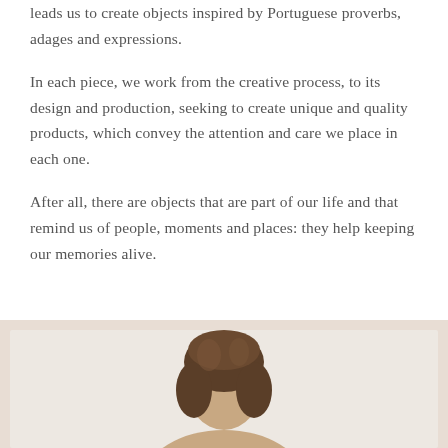leads us to create objects inspired by Portuguese proverbs, adages and expressions.

In each piece, we work from the creative process, to its design and production, seeking to create unique and quality products, which convey the attention and care we place in each one.

After all, there are objects that are part of our life and that remind us of people, moments and places: they help keeping our memories alive.
[Figure (photo): A photo of a person (woman) visible from the top of the head, set against a light beige/cream background. The image is partially cropped at the bottom of the page.]